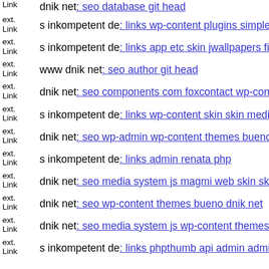ext. Link dnik net: seo database git head
ext. Link s inkompetent de: links wp-content plugins simplepress resize p
ext. Link s inkompetent de: links app etc skin jwallpapers files plupload
ext. Link www dnik net: seo author git head
ext. Link dnik net: seo components com foxcontact wp-content themes b
ext. Link s inkompetent de: links wp-content skin skin media index php
ext. Link dnik net: seo wp-admin wp-content themes bueno dnik net
ext. Link s inkompetent de: links admin renata php
ext. Link dnik net: seo media system js magmi web skin skin skinwizard
ext. Link dnik net: seo wp-content themes bueno dnik net
ext. Link dnik net: seo media system js wp-content themes coffeebreak s
ext. Link s inkompetent de: links phpthumb api admin administrator wp-